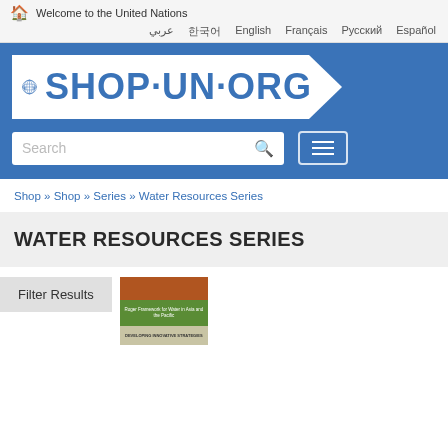Welcome to the United Nations
عربي  한국어  English  Français  Русский  Español
[Figure (logo): SHOP.UN.ORG logo with UN emblem on white tag-shaped background over blue banner, with search bar and hamburger menu]
Shop » Shop » Series » Water Resources Series
WATER RESOURCES SERIES
Filter Results
[Figure (photo): Partial book cover thumbnail showing a green and brown publication related to water resources in Asia and the Pacific]